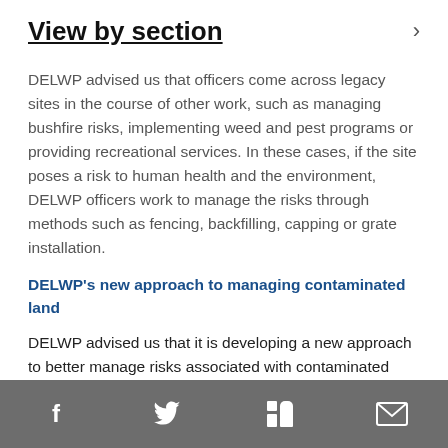View by section
DELWP advised us that officers come across legacy sites in the course of other work, such as managing bushfire risks, implementing weed and pest programs or providing recreational services. In these cases, if the site poses a risk to human health and the environment, DELWP officers work to manage the risks through methods such as fencing, backfilling, capping or grate installation.
DELWP's new approach to managing contaminated land
DELWP advised us that it is developing a new approach to better manage risks associated with contaminated land, including abandoned or legacy sites.
This work is in response to the introduction of the Environment Protection Act 2017 (as amended), which imposes a duty on DELWP, as Crown land manager, to
f  Twitter  in  Email